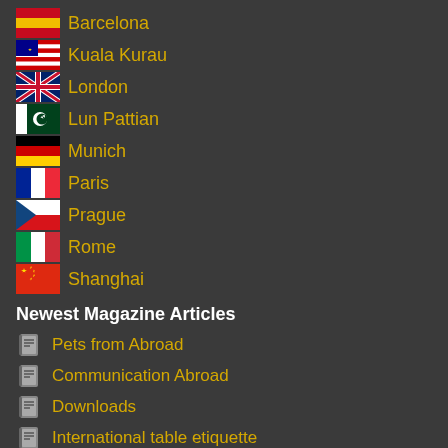Barcelona
Kuala Kurau
London
Lun Pattian
Munich
Paris
Prague
Rome
Shanghai
Newest Magazine Articles
Pets from Abroad
Communication Abroad
Downloads
International table etiquette
World GSM Frequencies
Travelling with Pets
Country Telephone Prefix